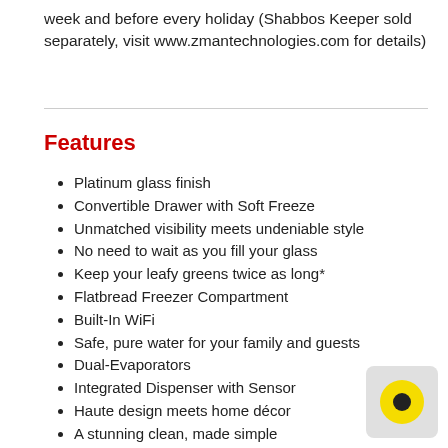week and before every holiday (Shabbos Keeper sold separately, visit www.zmantechnologies.com for details)
Features
Platinum glass finish
Convertible Drawer with Soft Freeze
Unmatched visibility meets undeniable style
No need to wait as you fill your glass
Keep your leafy greens twice as long*
Flatbread Freezer Compartment
Built-In WiFi
Safe, pure water for your family and guests
Dual-Evaporators
Integrated Dispenser with Sensor
Haute design meets home décor
A stunning clean, made simple
Enhanced Shabbos Mode